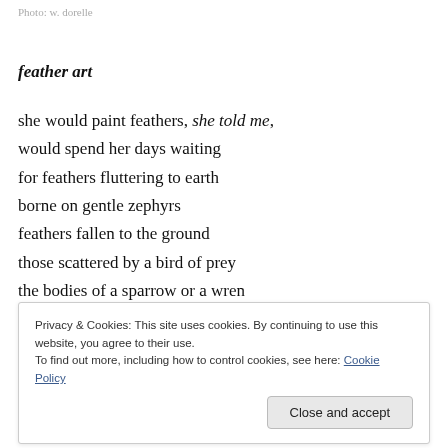Photo: w. dorelle
feather art
she would paint feathers, she told me,
would spend her days waiting
for feathers fluttering to earth
borne on gentle zephyrs
feathers fallen to the ground
those scattered by a bird of prey
the bodies of a sparrow or a wren
Privacy & Cookies: This site uses cookies. By continuing to use this website, you agree to their use.
To find out more, including how to control cookies, see here: Cookie Policy
Close and accept